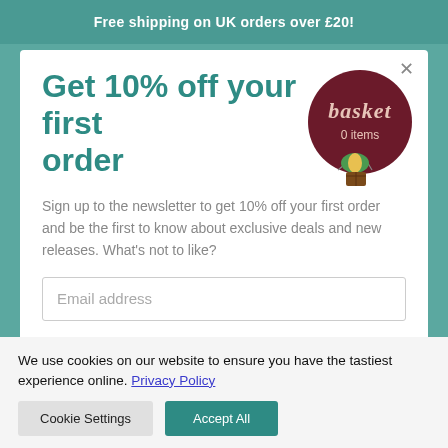Free shipping on UK orders over £20!
Get 10% off your first order
[Figure (illustration): Hot air balloon shaped basket badge with dark red/maroon circular balloon labeled 'basket' in pink/cream italic text and '0 items' below, with a small colorful hot air balloon gondola beneath]
Sign up to the newsletter to get 10% off your first order and be the first to know about exclusive deals and new releases. What's not to like?
Email address
We use cookies on our website to ensure you have the tastiest experience online. Privacy Policy
Cookie Settings
Accept All